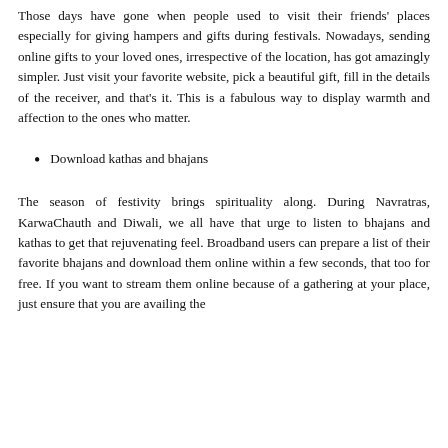Those days have gone when people used to visit their friends' places especially for giving hampers and gifts during festivals. Nowadays, sending online gifts to your loved ones, irrespective of the location, has got amazingly simpler. Just visit your favorite website, pick a beautiful gift, fill in the details of the receiver, and that's it. This is a fabulous way to display warmth and affection to the ones who matter.
Download kathas and bhajans
The season of festivity brings spirituality along. During Navratras, KarwaChauth and Diwali, we all have that urge to listen to bhajans and kathas to get that rejuvenating feel. Broadband users can prepare a list of their favorite bhajans and download them online within a few seconds, that too for free. If you want to stream them online because of a gathering at your place, just ensure that you are availing the